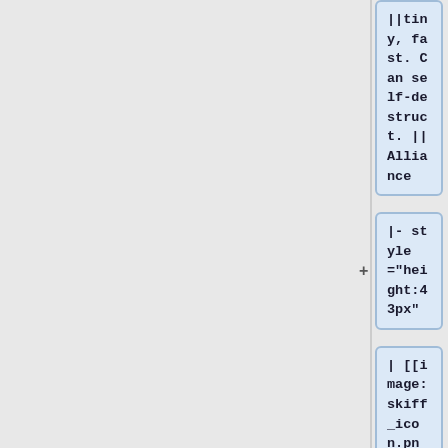||tiny, fast. Can self-destruct. ||Alliance
|- style="height:43px"
| [[image:skiff_icon.png]]||style="text-align:left"| [[Skiff]]|| [[Arilou Lalee'lay]]| |Fast, no inertia. Auto-aim laser.